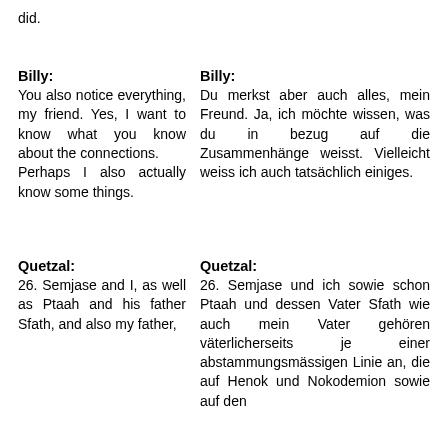did.
Billy:
You also notice everything, my friend. Yes, I want to know what you know about the connections.
Perhaps I also actually know some things.
Billy:
Du merkst aber auch alles, mein Freund. Ja, ich möchte wissen, was du in bezug auf die Zusammenhänge weisst. Vielleicht weiss ich auch tatsächlich einiges.
Quetzal:
26. Semjase and I, as well as Ptaah and his father Sfath, and also my father,
Quetzal:
26. Semjase und ich sowie schon Ptaah und dessen Vater Sfath wie auch mein Vater gehören väterlicherseits je einer abstammungsmässigen Linie an, die auf Henok und Nokodemion sowie auf den